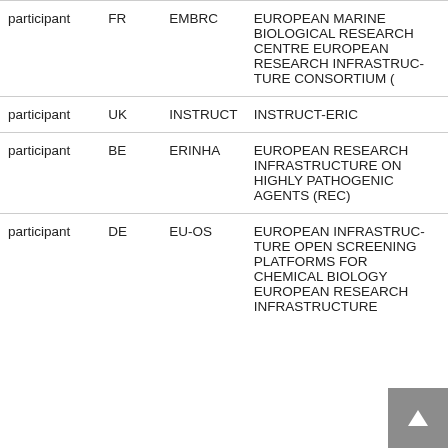| participant | FR | EMBRC | EUROPEAN MARINE BIOLOGICAL RESEARCH CENTRE EUROPEAN RESEARCH INFRASTRUCTURE CONSORTIUM (EMBRC-ERIC) |
| participant | UK | INSTRUCT | INSTRUCT-ERIC |
| participant | BE | ERINHA | EUROPEAN RESEARCH INFRASTRUCTURE ON HIGHLY PATHOGENIC AGENTS (REC) |
| participant | DE | EU-OS | EUROPEAN INFRASTRUCTURE OPEN SCREENING PLATFORMS FOR CHEMICAL BIOLOGY EUROPEAN RESEARCH INFRASTRUCTURE |